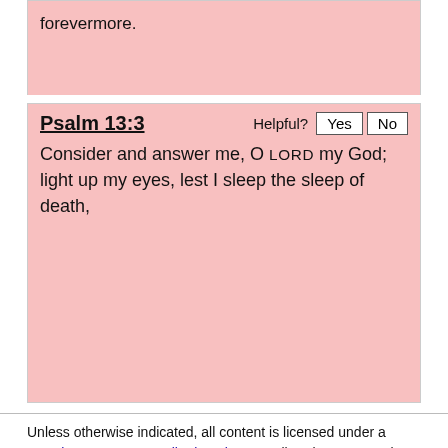forevermore.
Psalm 13:3
Consider and answer me, O LORD my God; light up my eyes, lest I sleep the sleep of death,
Unless otherwise indicated, all content is licensed under a Creative Commons Attribution License. All Scripture quotations, unless otherwise indicated, are taken from The Holy Bible, English Standard Version. Copyright ©2001 by Crossway Bibles, a publishing ministry of Good News Publishers. Contact me: openbibleinfo (at) gmail.com.